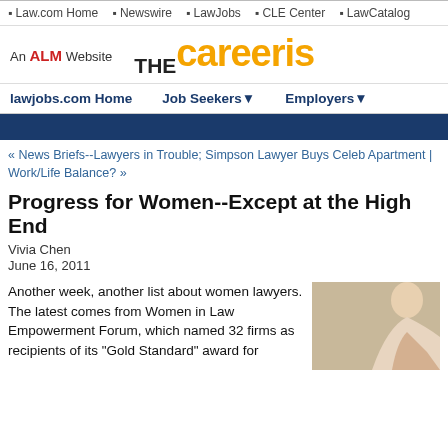Law.com Home | Newswire | LawJobs | CLE Center | LawCatalog
[Figure (logo): An ALM Website — THE Careerist logo in orange and black]
lawjobs.com Home | Job Seekers▼ | Employers▼
« News Briefs--Lawyers in Trouble; Simpson Lawyer Buys Celeb Apartment | Work/Life Balance? »
Progress for Women--Except at the High End
Vivia Chen
June 16, 2011
Another week, another list about women lawyers. The latest comes from Women in Law Empowerment Forum, which named 32 firms as recipients of its "Gold Standard" award for
[Figure (photo): Photo of a woman, partially visible, cropped on the right side]